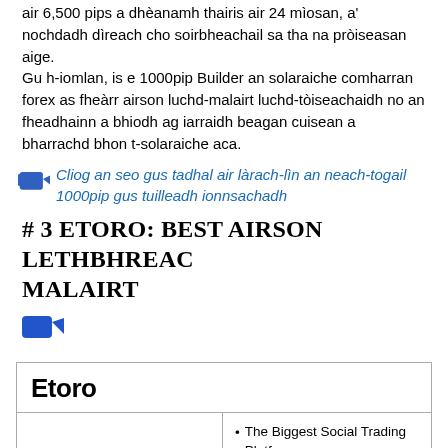air 6,500 pips a dhèanamh thairis air 24 mìosan, a' nochdadh dìreach cho soirbheachail sa tha na pròiseasan aige.
Gu h-iomlan, is e 1000pip Builder an solaraiche comharran forex as fheàrr airson luchd-malairt luchd-tòiseachaidh no an fheadhainn a bhiodh ag iarraidh beagan cuisean a bharrachd bhon t-solaraiche aca.
Cliog an seo gus tadhal air làrach-lìn an neach-togail 1000pip gus tuilleadh ionnsachadh
# 3 eToro: Best airson lethbhreac Malairt
[Figure (logo): Blue pointing finger / cursor icon]
| Etoro |  |
| --- | --- |
| eToro logo | The Biggest Social Trading Platform
Copy Trades From Other Successful Traders
Simple, Easy-to-Use Platform
Get Started For As Little As $200 |